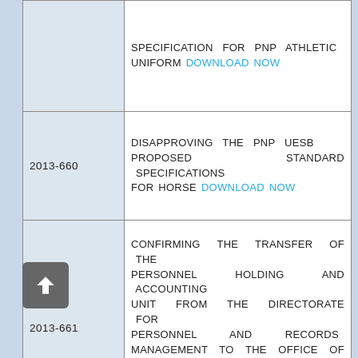| Resolution No. | Description |
| --- | --- |
|  | SPECIFICATION FOR PNP ATHLETIC UNIFORM DOWNLOAD NOW |
| 2013-660 | DISAPPROVING THE PNP UESB PROPOSED STANDARD SPECIFICATIONS FOR HORSE DOWNLOAD NOW |
| 2013-661 | CONFIRMING THE TRANSFER OF THE PERSONNEL HOLDING AND ACCOUNTING UNIT FROM THE DIRECTORATE FOR PERSONNEL AND RECORDS MANAGEMENT TO THE OFFICE OF THE DIRECTOR, HEADQUARTERS SUPPORT UNIT DOWNLOAD NOW |
| 2013-673 | AMENDING NAPOLCOM RESOLUTION NO. 99-177 ENTITLED “APPROVING THE STANDARD SPECIFICATIONS AND DESIGN FOR PNP BIKE PATROL UNIFORM AND |